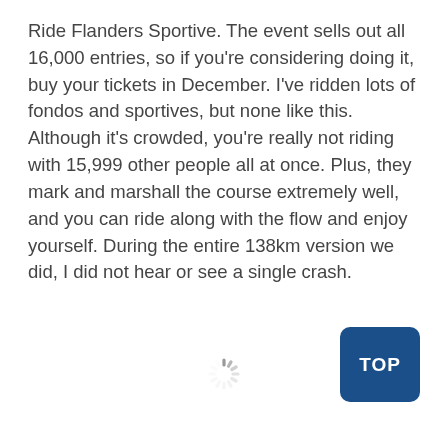Ride Flanders Sportive. The event sells out all 16,000 entries, so if you're considering doing it, buy your tickets in December. I've ridden lots of fondos and sportives, but none like this. Although it's crowded, you're really not riding with 15,999 other people all at once. Plus, they mark and marshall the course extremely well, and you can ride along with the flow and enjoy yourself. During the entire 138km version we did, I did not hear or see a single crash.
[Figure (other): Loading spinner animation]
[Figure (other): Blue rounded rectangle button with text TOP]